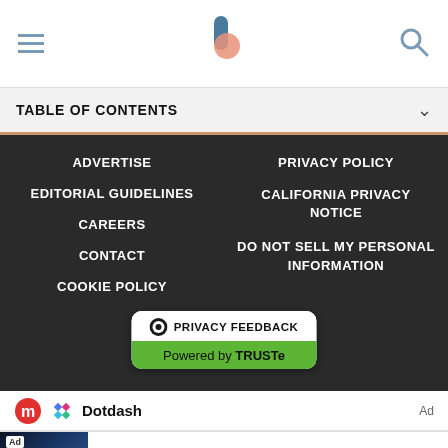Navigation header with hamburger menu, logo, and search icon
TABLE OF CONTENTS
ADVERTISE
PRIVACY POLICY
EDITORIAL GUIDELINES
CALIFORNIA PRIVACY NOTICE
CAREERS
DO NOT SELL MY PERSONAL INFORMATION
CONTACT
COOKIE POLICY
[Figure (logo): TRUSTe Privacy Feedback badge: white rounded rectangle with 'PRIVACY FEEDBACK' in black on top and 'Powered by TRUSTe' on green background below]
[Figure (logo): Dotdash logo with stylized 'm' and diamond icons]
[Figure (photo): Ad banner: NOW OPEN at EPCOT! Walt Disney World advertisement with Learn more link]